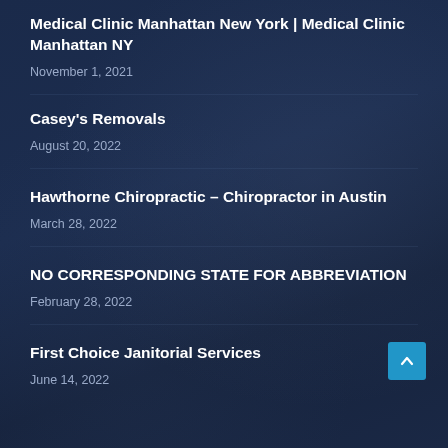Medical Clinic Manhattan New York | Medical Clinic Manhattan NY
November 1, 2021
Casey's Removals
August 20, 2022
Hawthorne Chiropractic – Chiropractor in Austin
March 28, 2022
NO CORRESPONDING STATE FOR ABBREVIATION
February 28, 2022
First Choice Janitorial Services
June 14, 2022